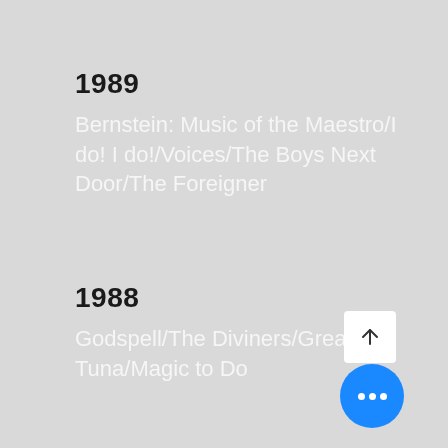1989
Bernstein: Music of the Maestro/I do! I do!/Voices/The Boys Next Door/The Foreigner
1988
Godspell/The Diviners/Greater Tuna/Magic to Do